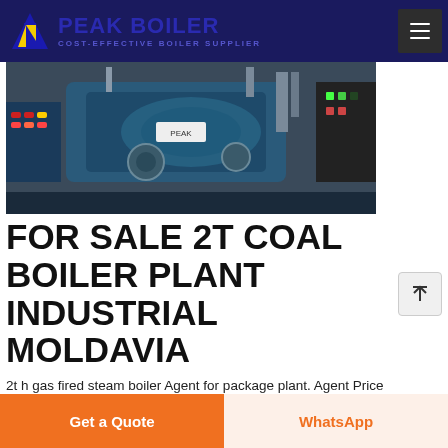PEAK BOILER — COST-EFFECTIVE BOILER SUPPLIER
[Figure (photo): Industrial coal boiler plant machinery with control panels, pipes, and mechanical components visible in a factory setting]
FOR SALE 2T COAL BOILER PLANT INDUSTRIAL MOLDAVIA
2t h gas fired steam boiler Agent for package plant. Agent Price 2t Gas Boiler Plant Russia. 2 Ton Agent Industrial Condensing Boiler Russia. Agent 10t Oil Powered Boiler Plant Commercial Russia. 10t oil fired Boiler Industrial Agent
Get a Quote
WhatsApp